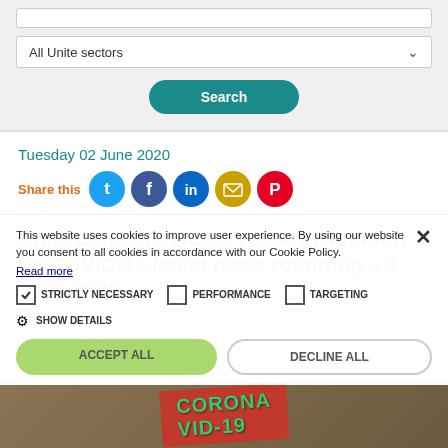[Figure (screenshot): Search form with 'All Unite sectors' dropdown and Search button on grey background]
Tuesday 02 June 2020
Share this
[Figure (infographic): Social sharing icons: Twitter, Facebook, LinkedIn, Email, Pinterest]
Unite Legal Services: Weekly round-up on COVID-19 latest news round-up – 1 June 2020
This website uses cookies to improve user experience. By using our website you consent to all cookies in accordance with our Cookie Policy.
Read more
STRICTLY NECESSARY   PERFORMANCE   TARGETING
SHOW DETAILS
ACCEPT ALL   DECLINE ALL
[Figure (photo): Coronavirus sign partially visible at bottom of page]